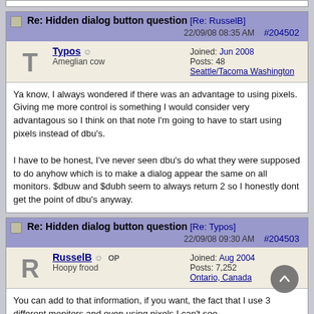Re: Hidden dialog button question [Re: RusselB] 22/09/08 08:35 AM #204502
Typos | Ameglian cow | Joined: Jun 2008 | Posts: 48 | Seattle/Tacoma Washington
Ya know, I always wondered if there was an advantage to using pixels. Giving me more control is something I would consider very advantagous so I think on that note I'm going to have to start using pixels instead of dbu's.

I have to be honest, I've never seen dbu's do what they were supposed to do anyhow which is to make a dialog appear the same on all monitors. $dbuw and $dubh seem to always return 2 so I honestly dont get the point of dbu's anyway.
Re: Hidden dialog button question [Re: Typos] 22/09/08 09:30 AM #204503
RusselB OP | Hoopy frood | Joined: Aug 2004 | Posts: 7,252 | Ontario, Canada
You can add to that information, if you want, the fact that I use 3 different monitors and even using pixels I can't see